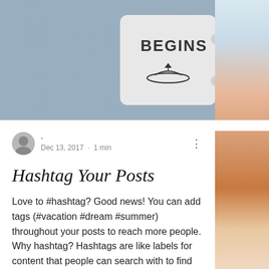[Figure (photo): Top portion: photo of a mug with 'BEGINS' text and a canoe logo, held by a hand, on a blue/grey carpet background. Right side: partial photo of a hand holding something, light blue and skin-tone background.]
- Dec 13, 2017 · 1 min
Hashtag Your Posts
Love to #hashtag? Good news! You can add tags (#vacation #dream #summer) throughout your posts to reach more people. Why hashtag? Hashtags are like labels for content that people can search with to find relevant posts. Using hashtags can expand your post reach and help people find the content that matters